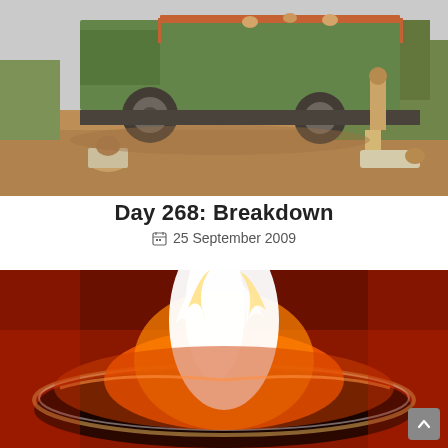[Figure (photo): A broken-down truck on a dusty road in a rural setting, with a young person sitting in the foreground on the ground and another person standing near the truck's rear. Trees and a hazy sky in the background.]
Day 268: Breakdown
25 September 2009
[Figure (photo): Close-up of a bowl or plate with bright white-orange fire/flames burning inside, set against a dark red background. The flames are intense and bright white at the center.]